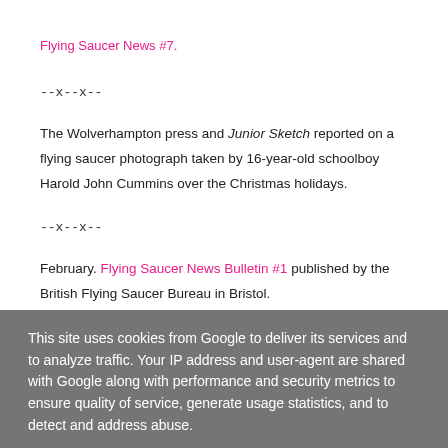Flying Saucer News #7.
--x--x--
The Wolverhampton press and Junior Sketch reported on a flying saucer photograph taken by 16-year-old schoolboy Harold John Cummins over the Christmas holidays.
--x--x--
February. Flying Saucer News Bulletin #1 published by the British Flying Saucer Bureau in Bristol.
This site uses cookies from Google to deliver its services and to analyze traffic. Your IP address and user-agent are shared with Google along with performance and security metrics to ensure quality of service, generate usage statistics, and to detect and address abuse.
LEARN MORE   OK